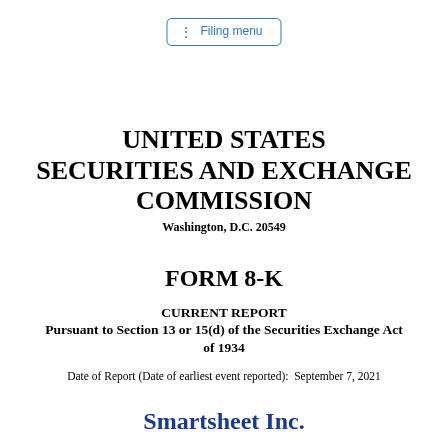Filing menu
UNITED STATES SECURITIES AND EXCHANGE COMMISSION
Washington, D.C. 20549
FORM 8-K
CURRENT REPORT
Pursuant to Section 13 or 15(d) of the Securities Exchange Act of 1934
Date of Report (Date of earliest event reported):  September 7, 2021
Smartsheet Inc.